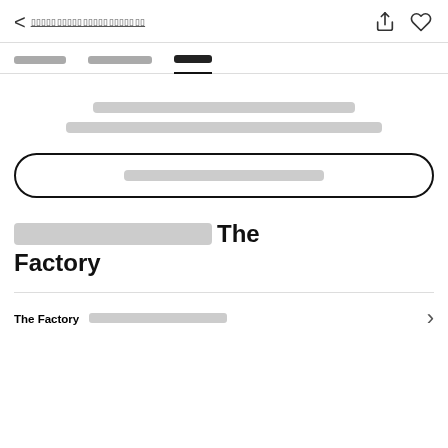< [Thai text nav link]  [share icon] [heart icon]
[Tab 1]  [Tab 2]  [Tab 3 - active]
[placeholder text lines]
[search bar placeholder]
[Thai text] The Factory
The Factory [Thai text placeholder]